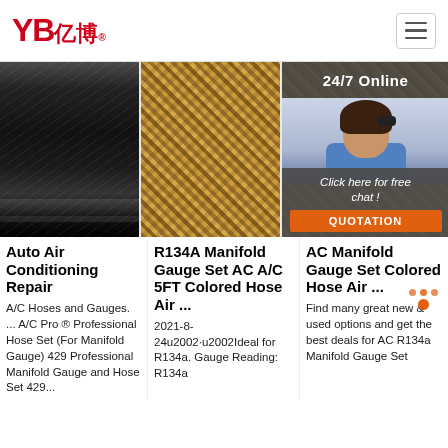YB亿博® logo and navigation hamburger menu
[Figure (photo): Three product/promotional images in a row: black rubber hose close-up, gold braided hose close-up, and a customer service representative with 24/7 Online overlay and chat popup]
Auto Air Conditioning Repair
A/C Hoses and Gauges. ... A/C Pro ® Professional Hose Set (For Manifold Gauge) 429 Professional Manifold Gauge and Hose Set 429...
R134A Manifold Gauge Set AC A/C 5FT Colored Hose Air ...
2021-8-24u2002·u2002Ideal for R134a. Gauge Reading: R134a
AC Manifold Gauge Set Colored Hose Air ...
Find many great new & used options and get the best deals for AC R134a Manifold Gauge Set